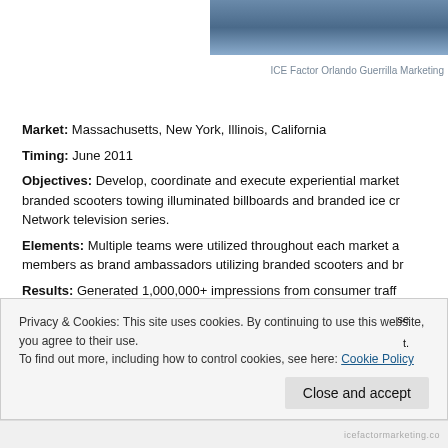[Figure (photo): Partial blue sky/scenery photo banner at top right of page]
ICE Factor Orlando Guerrilla Marketing
Market: Massachusetts, New York, Illinois, California
Timing: June 2011
Objectives: Develop, coordinate and execute experiential market branded scooters towing illuminated billboards and branded ice cr Network television series.
Elements: Multiple teams were utilized throughout each market a members as brand ambassadors utilizing branded scooters and br
Results: Generated 1,000,000+ impressions from consumer traff promotional materials on USA Network television series and 100,
“From the very beginning, ICE Factor’s team was strategic and orga
Privacy & Cookies: This site uses cookies. By continuing to use this website, you agree to their use.
To find out more, including how to control cookies, see here: Cookie Policy